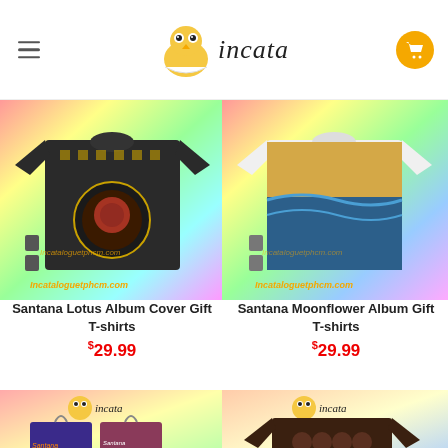incata
[Figure (photo): Santana Lotus Album Cover Gift T-shirt product image on rainbow background with Incata watermark]
Santana Lotus Album Cover Gift T-shirts
$29.99
[Figure (photo): Santana Moonflower Album Gift T-shirt product image on rainbow background with Incata watermark]
Santana Moonflower Album Gift T-shirts
$29.99
[Figure (photo): Santana Supernatural album gift T-shirt product image on rainbow background with Incata logo]
[Figure (photo): Dark brown Santana band T-shirt product image on rainbow background with Incata logo]